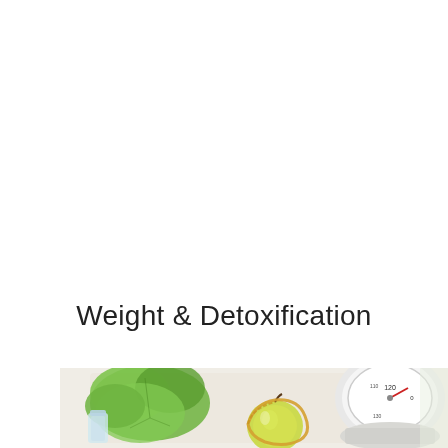Weight & Detoxification
[Figure (photo): Top-down view of a bathroom scale showing dial around 120, a green apple with a measuring tape wrapped around it, fresh green lettuce leaves, and a bottle of water arranged on a white surface — health and weight loss concept.]